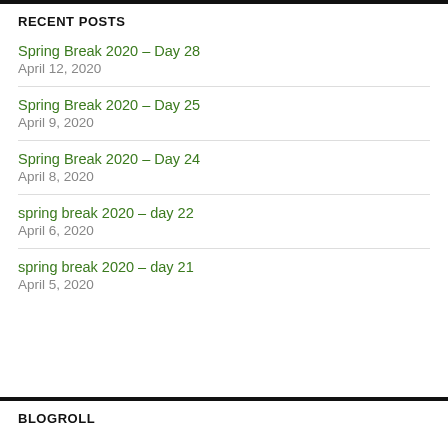RECENT POSTS
Spring Break 2020 – Day 28
April 12, 2020
Spring Break 2020 – Day 25
April 9, 2020
Spring Break 2020 – Day 24
April 8, 2020
spring break 2020 – day 22
April 6, 2020
spring break 2020 – day 21
April 5, 2020
BLOGROLL